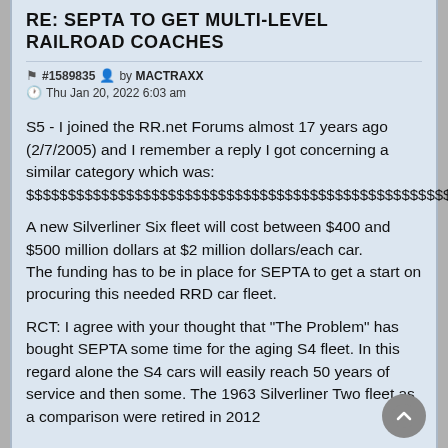RE: SEPTA TO GET MULTI-LEVEL RAILROAD COACHES
#1589835 by MACTRAXX
Thu Jan 20, 2022 6:03 am
S5 - I joined the RR.net Forums almost 17 years ago (2/7/2005) and I remember a reply I got concerning a similar category which was:
$$$$$$$$$$$$$$$$$$$$$$$$$$$$$$$$$$$$$$$$$$$$$$$$$$$$$$$$$$$$$$$$$$
A new Silverliner Six fleet will cost between $400 and $500 million dollars at $2 million dollars/each car.
The funding has to be in place for SEPTA to get a start on procuring this needed RRD car fleet.
RCT: I agree with your thought that "The Problem" has bought SEPTA some time for the aging S4 fleet. In this regard alone the S4 cars will easily reach 50 years of service and then some. The 1963 Silverliner Two fleet as a comparison were retired in 2012